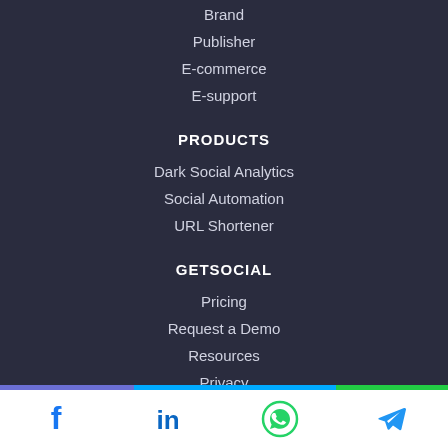Brand
Publisher
E-commerce
E-support
PRODUCTS
Dark Social Analytics
Social Automation
URL Shortener
GETSOCIAL
Pricing
Request a Demo
Resources
Privacy
Terms of Use
Login
Facebook, LinkedIn, WhatsApp, Telegram social share icons